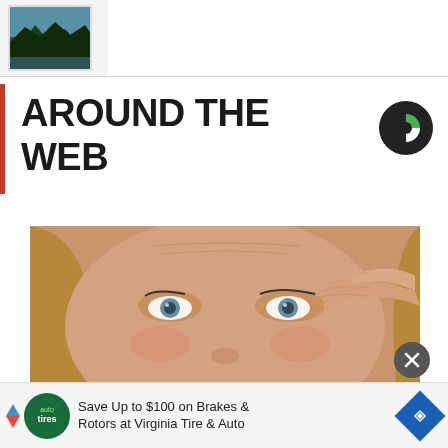[Figure (photo): Small thumbnail photo of a mountain/forest landscape with water, shown in top-left area]
AROUND THE WEB
[Figure (logo): Outbrain logo - dark circle with green and white partial circle design]
[Figure (photo): Close-up photo of a middle-aged woman with blonde hair and blue eyes, touching her eye with her finger, looking upward]
Save Up to $100 on Brakes & Rotors at Virginia Tire & Auto